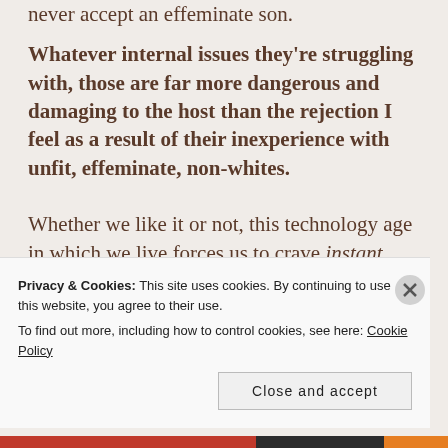never accept an effeminate son. Whatever internal issues they're struggling with, those are far more dangerous and damaging to the host than the rejection I feel as a result of their inexperience with unfit, effeminate, non-whites.
Whether we like it or not, this technology age in which we live forces us to crave instant results from any particular action we take.
Privacy & Cookies: This site uses cookies. By continuing to use this website, you agree to their use. To find out more, including how to control cookies, see here: Cookie Policy
Close and accept